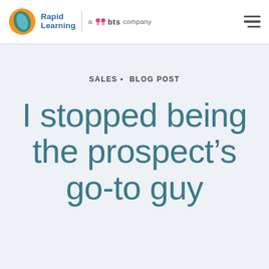Rapid Learning | a bts company
SALES · BLOG POST
I stopped being the prospect's go-to guy